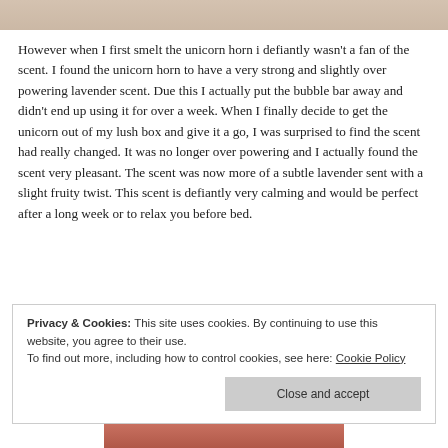[Figure (photo): Top portion of a product photo with beige/tan background]
However when I first smelt the unicorn horn i defiantly wasn't a fan of the scent. I found the unicorn horn to have a very strong and slightly over powering lavender scent. Due this I actually put the bubble bar away and didn't end up using it for over a week. When I finally decide to get the unicorn out of my lush box and give it a go, I was surprised to find the scent had really changed. It was no longer over powering and I actually found the scent very pleasant. The scent was now more of a subtle lavender sent with a slight fruity twist. This scent is defiantly very calming and would be perfect after a long week or to relax you before bed.
Privacy & Cookies: This site uses cookies. By continuing to use this website, you agree to their use.
To find out more, including how to control cookies, see here: Cookie Policy
[Figure (photo): Bottom portion of a product photo showing reddish/colorful product]